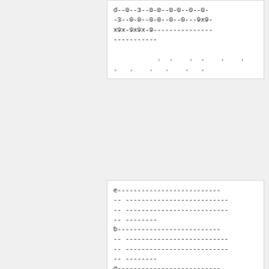d--0--3--0-0--0-0--0--0--3--0-0--0-0--0--0---9x9-x9x-9x9x-9-------------------- . .   .  .   .   .  .   .   .   .   .   .
e-------------------------- - -------------------------- - -------------------------- --------
b-------------------------- - -------------------------- - -------------------------- --------
g-------------------------- - -------------------------- - -7------------------------
- -------------------------- d--7~---------------------